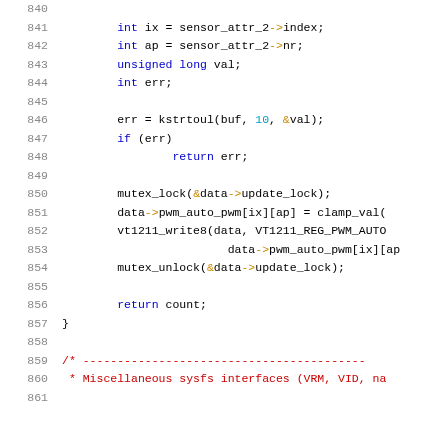Source code listing, lines 840-861, C kernel driver code with syntax highlighting showing variable declarations, kstrtoul call, mutex lock/unlock, pwm_auto_pwm array assignment, and a comment block start.